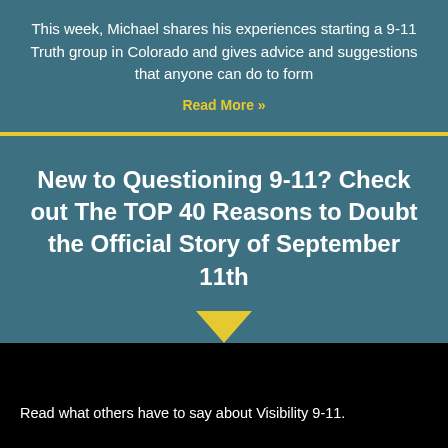This week, Michael shares his experiences starting a 9-11 Truth group in Colorado and gives advice and suggestions that anyone can do to form
Read More »
New to Questioning 9-11? Check out The TOP 40 Reasons to Doubt the Official Story of September 11th
Read what others have to say about Visibility 9-11.